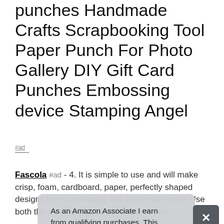punches Handmade Crafts Scrapbooking Tool Paper Punch For Photo Gallery DIY Gift Card Punches Embossing device Stamping Angel
#ad
Fascola #ad - 4. It is simple to use and will make crisp, foam, cardboard, paper, perfectly shaped designs from card-stock, felt, and much more; Use both the punched out shape and the punched...
2. Crafts... great designs. 1. Spring-action lever makes the punch easier
As an Amazon Associate I earn from qualifying purchases. This website uses the only necessary cookies to ensure you get the best experience on our website. More information